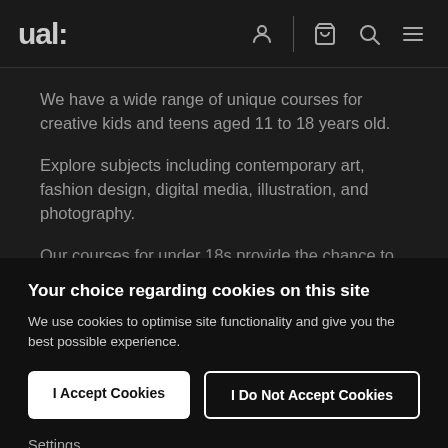ual:
We have a wide range of unique courses for creative kids and teens aged 11 to 18 years old.
Explore subjects including contemporary art, fashion design, digital media, illustration, and photography.
Our courses for under 18s provide the chance to
Your choice regarding cookies on this site
We use cookies to optimise site functionality and give you the best possible experience.
I Accept Cookies
I Do Not Accept Cookies
Settings